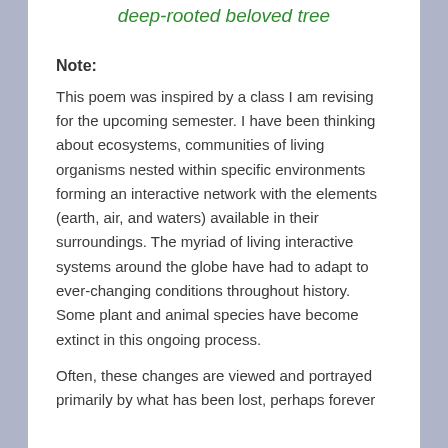deep-rooted beloved tree
Note:
This poem was inspired by a class I am revising for the upcoming semester. I have been thinking about ecosystems, communities of living organisms nested within specific environments forming an interactive network with the elements (earth, air, and waters) available in their surroundings. The myriad of living interactive systems around the globe have had to adapt to ever-changing conditions throughout history. Some plant and animal species have become extinct in this ongoing process.
Often, these changes are viewed and portrayed primarily by what has been lost, perhaps forever...